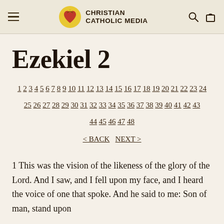CHRISTIAN CATHOLIC MEDIA
Ezekiel 2
1 2 3 4 5 6 7 8 9 10 11 12 13 14 15 16 17 18 19 20 21 22 23 24 25 26 27 28 29 30 31 32 33 34 35 36 37 38 39 40 41 42 43 44 45 46 47 48 < BACK  NEXT >
1 This was the vision of the likeness of the glory of the Lord. And I saw, and I fell upon my face, and I heard the voice of one that spoke. And he said to me: Son of man, stand upon